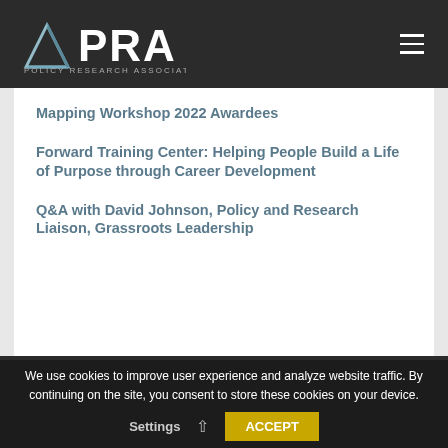[Figure (logo): PRA Policy Research Associates logo with triangle icon and text]
Mapping Workshop 2022 Awardees
Forward Training Center: Helping People Build a Life of Purpose through Career Development
Q&A with David Johnson, Policy and Research Liaison, Grassroots Leadership
EMPLOYEE LOGIN
© 2022 POLICY
We use cookies to improve user experience and analyze website traffic. By continuing on the site, you consent to store these cookies on your device. Settings ACCEPT